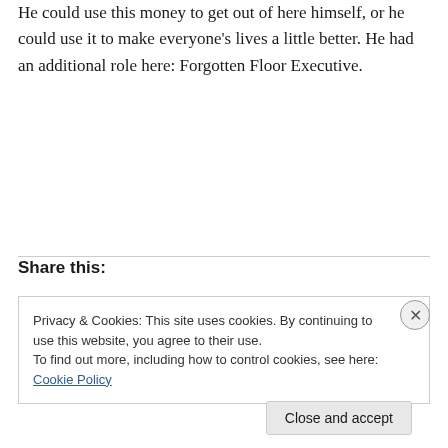He could use this money to get out of here himself, or he could use it to make everyone's lives a little better. He had an additional role here: Forgotten Floor Executive.
Share this:
Privacy & Cookies: This site uses cookies. By continuing to use this website, you agree to their use.
To find out more, including how to control cookies, see here: Cookie Policy